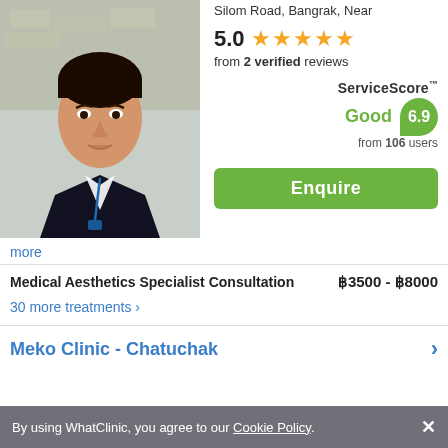Silom Road, Bangrak, Near
5.0 ★★★★★
from 2 verified reviews
ServiceScore™ Good 6.9 from 106 users
[Figure (photo): Headshot of a young Asian male doctor/specialist in a dark suit with a lanyard, smiling, in an indoor setting]
Enquire
more
Medical Aesthetics Specialist Consultation   ฿3500 - ฿8000
30 more treatments >
Meko Clinic - Chatuchak
By using WhatClinic, you agree to our Cookie Policy.